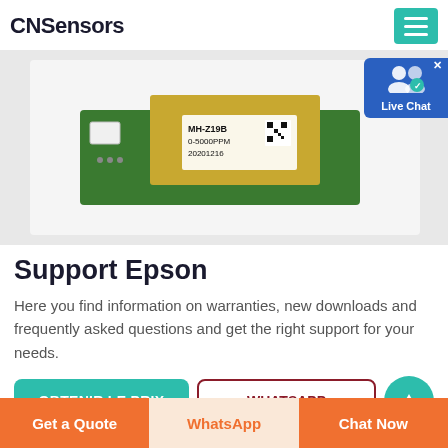CNSensors
[Figure (photo): MH-Z19B CO2 sensor module on green PCB board, labeled MH-Z19B 0-5000PPM 20201216 with QR code]
Support Epson
Here you find information on warranties, new downloads and frequently asked questions and get the right support for your needs.
[Figure (other): CTA buttons: OBTENIR LE PRIX (teal), WHATSAPP (outlined red), and a teal circle button]
Get a Quote | WhatsApp | Chat Now